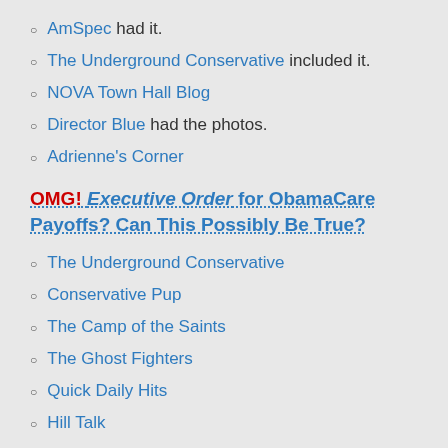AmSpec had it.
The Underground Conservative included it.
NOVA Town Hall Blog
Director Blue had the photos.
Adrienne's Corner
OMG! Executive Order for ObamaCare Payoffs? Can This Possibly Be True?
The Underground Conservative
Conservative Pup
The Camp of the Saints
The Ghost Fighters
Quick Daily Hits
Hill Talk
Yankee Mom